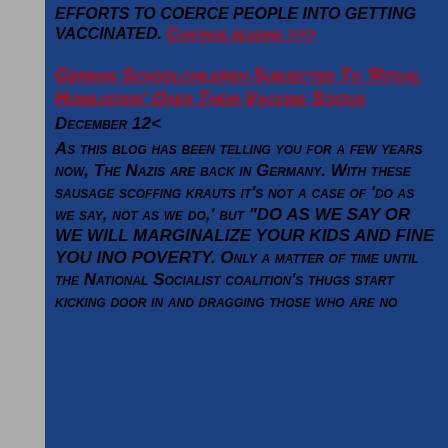EFFORTS TO COERCE PEOPLE INTO GETTING VACCINATED. Continue reading >>>
German Schoolchildren Subjected To 'Ritual Humiliation' Over Their Vaccine Status
December 12<
As this blog has been telling you for a few years now, The Nazis are back in Germany. With these sausage scoffing krauts it's not a case of 'do as we say, not as we do,' but "DO AS WE SAY OR WE WILL MARGINALIZE YOUR KIDS AND FINE YOU INO POVERTY. Only a matter of time until the National Socialist coalition's thugs start kicking door in and dragging those who are no